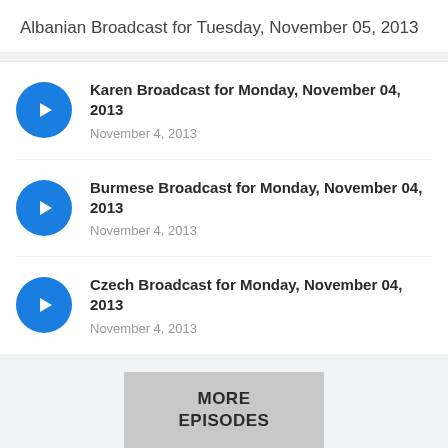Albanian Broadcast for Tuesday, November 05, 2013
Karen Broadcast for Monday, November 04, 2013 — November 4, 2013
Burmese Broadcast for Monday, November 04, 2013 — November 4, 2013
Czech Broadcast for Monday, November 04, 2013 — November 4, 2013
MORE EPISODES